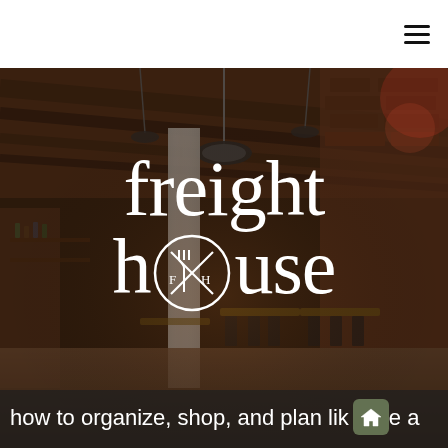Navigation menu (hamburger icon)
[Figure (photo): Interior of Freight House restaurant showing brick walls, wood beam ceiling, hanging pendant lights, dining tables and chairs, and a central white column. The image is dimmed/darkened to serve as a background.]
freight house
how to organize, shop, and plan like a